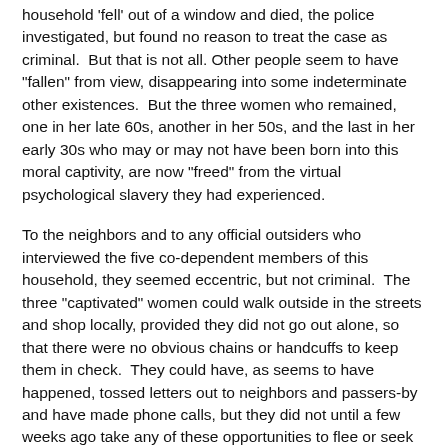household 'fell' out of a window and died, the police investigated, but found no reason to treat the case as criminal.  But that is not all. Other people seem to have "fallen" from view, disappearing into some indeterminate other existences.  But the three women who remained, one in her late 60s, another in her 50s, and the last in her early 30s who may or may not have been born into this moral captivity, are now "freed" from the virtual psychological slavery they had experienced.
To the neighbors and to any official outsiders who interviewed the five co-dependent members of this household, they seemed eccentric, but not criminal.  The three "captivated" women could walk outside in the streets and shop locally, provided they did not go out alone, so that there were no obvious chains or handcuffs to keep them in check.  They could have, as seems to have happened, tossed letters out to neighbors and passers-by and have made phone calls, but they did not until a few weeks ago take any of these opportunities to flee or seek help from the police.